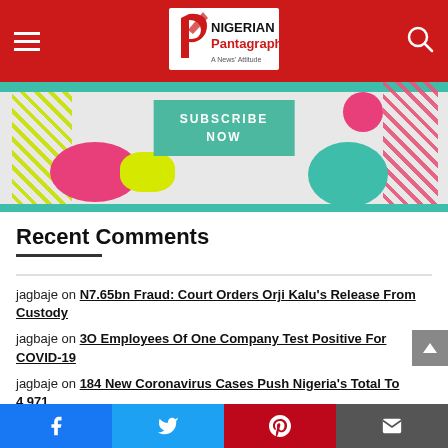Nigerian Pantagraph — A News' Attitude
[Figure (illustration): Colorful Subscribe Now banner advertisement with teal button, pink and yellow decorative shapes on a light background]
Recent Comments
jagbaje on N7.65bn Fraud: Court Orders Orji Kalu's Release From Custody
jagbaje on 3O Employees Of One Company Test Positive For COVID-19
jagbaje on 184 New Coronavirus Cases Push Nigeria's Total To 4,971
jagbaje on China Reacts To Planned $200bn Coronavirus Suit By Nigerian Lawyers
jagbaje on Breaking: Boris Johnson tests positive for
Facebook Twitter Pinterest Email